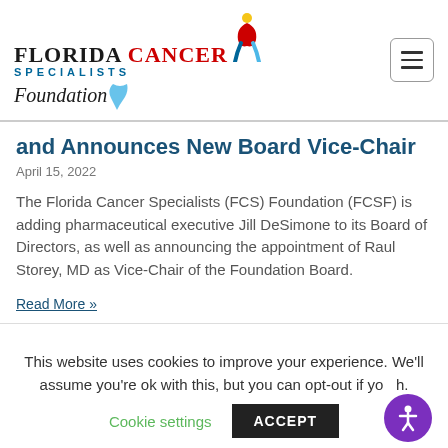[Figure (logo): Florida Cancer Specialists Foundation logo with ribbon icon and hamburger menu button]
and Announces New Board Vice-Chair
April 15, 2022
The Florida Cancer Specialists (FCS) Foundation (FCSF) is adding pharmaceutical executive Jill DeSimone to its Board of Directors, as well as announcing the appointment of Raul Storey, MD as Vice-Chair of the Foundation Board.
Read More »
This website uses cookies to improve your experience. We'll assume you're ok with this, but you can opt-out if yo h.
Cookie settings   ACCEPT